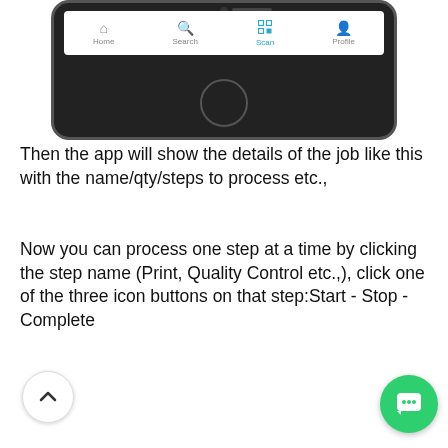[Figure (screenshot): Mobile app screenshot showing bottom navigation bar with Home, Search, Scan (active/highlighted in blue), and Profile tabs. Black phone body visible with home button circle at bottom.]
Then the app will show the details of the job like this with the name/qty/steps to process etc.,
Now you can process one step at a time by clicking the step name (Print, Quality Control etc.,), click one of the three icon buttons on that step:Start - Stop - Complete
[Figure (screenshot): Mobile app screenshot showing a phone with status bar (9:41 AM, 100% battery), and a blue navigation bar with back arrow 'Scan' on left and 'Job' title in center. Scroll-to-top button (chevron up) visible on left. Green chat/support button visible on bottom right.]